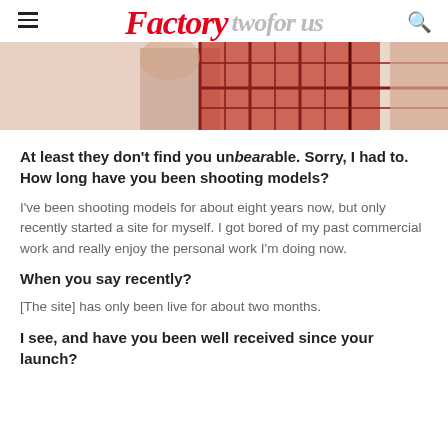Factory [tagline grayed out]
[Figure (photo): Partial view of models or people in a photoshoot setting, cropped image showing figures with plaid/tartan fabric visible]
At least they don't find you unbearable. Sorry, I had to. How long have you been shooting models?
I've been shooting models for about eight years now, but only recently started a site for myself. I got bored of my past commercial work and really enjoy the personal work I'm doing now.
When you say recently?
[The site] has only been live for about two months.
I see, and have you been well received since your launch?